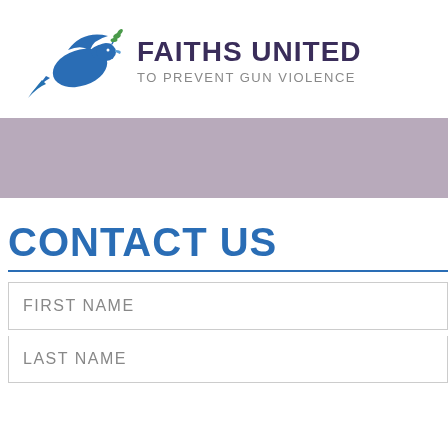[Figure (logo): Faiths United to Prevent Gun Violence logo: a blue dove carrying an olive branch, with bold dark purple 'FAITHS UNITED' and grey 'TO PREVENT GUN VIOLENCE' text]
[Figure (other): Mauve/taupe horizontal banner bar]
CONTACT US
FIRST NAME
LAST NAME